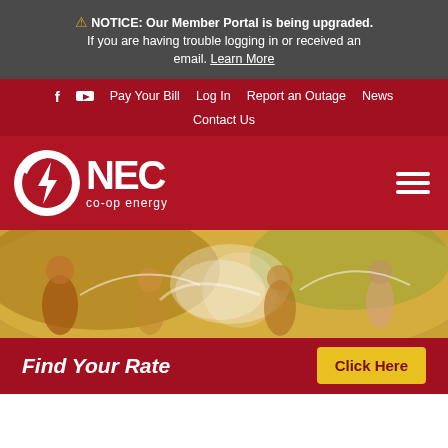⚠ NOTICE: Our Member Portal is being upgraded. If you are having trouble logging in or received an email. Learn More
f  [youtube]  Pay Your Bill  Log In  Report an Outage  News  Contact Us
[Figure (logo): NEC co-op energy logo: white circle with lightning bolt, white text 'NEC' and 'co-op energy' on dark red background. Hamburger menu icon on right.]
[Figure (photo): Family and children playing with water guns and sprinklers outdoors in summer, warm golden light, backlit scene.]
Find Your Rate   Click Here